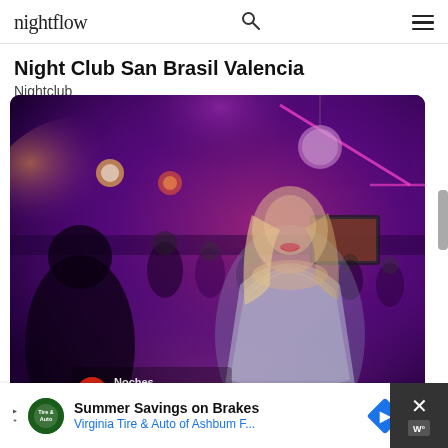nightflow
Night Club San Brasil Valencia
Nightclub
[Figure (photo): Interior of Night Club San Brasil Valencia with purple and pink neon lighting, a disco ball, people dancing in background, and a smiling blonde woman in a silver sequin dress in the foreground. A logo overlay in bottom left reads 'Noches de...']
Summer Savings on Brakes
Virginia Tire & Auto of Ashbum F...